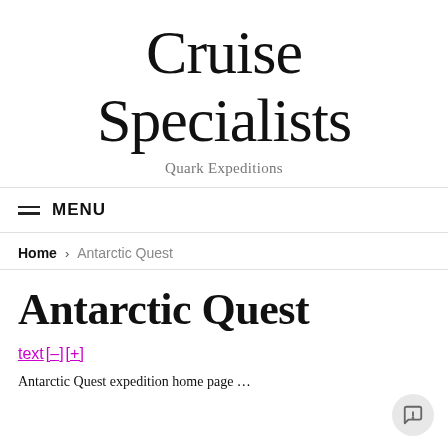Cruise Specialists
Quark Expeditions
≡ MENU
Home > Antarctic Quest
Antarctic Quest
text [–] [+]
Antarctic Quest expedition home page partial text